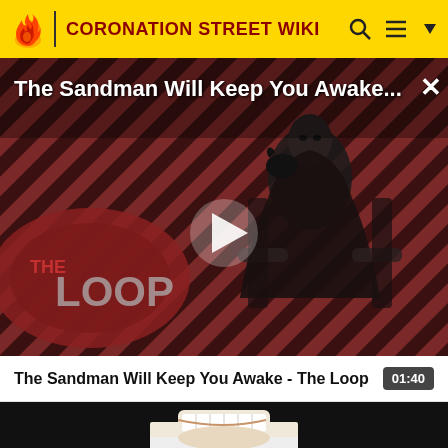CORONATION STREET WIKI
[Figure (screenshot): Video player showing The Sandman Will Keep You Awake - The Loop, with diagonal striped red/dark background, a dark-clothed figure seated, THE LOOP logo, and a white play button triangle overlay. Title text overlaid at top.]
The Sandman Will Keep You Awake - The Loop
01:40
[Figure (photo): Close-up thumbnail of a smiling person's face (lower half), appearing to be a screenshot from the video.]